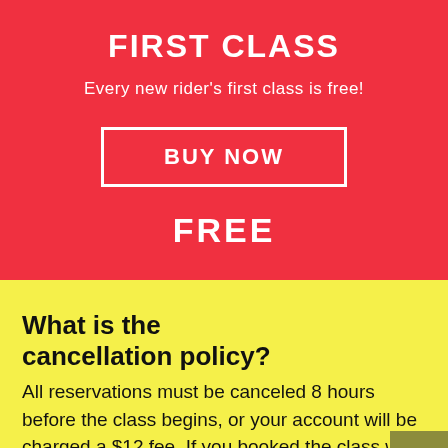FIRST CLASS
Every new rider's first class is free!
BUY NOW
FREE
What is the cancellation policy?
All reservations must be canceled 8 hours before the class begins, or your account will be charged a $12 fee. If you booked the class with a payment...